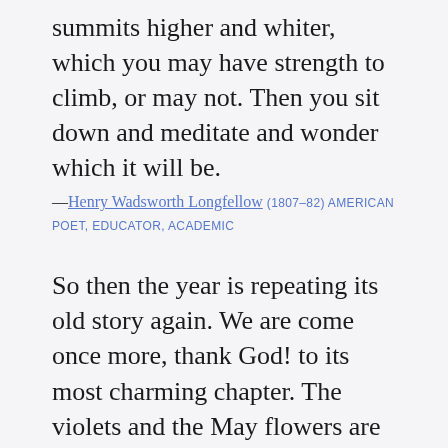summits higher and whiter, which you may have strength to climb, or may not. Then you sit down and meditate and wonder which it will be.
—Henry Wadsworth Longfellow (1807–82) AMERICAN POET, EDUCATOR, ACADEMIC
So then the year is repeating its old story again. We are come once more, thank God! to its most charming chapter. The violets and the May flowers are as its inscriptions or vignettes. It always makes a pleasant impression on us, when we open again at these pages of the book of life.
—Johann Wolfgang von Goethe (1749–1832) GERMAN POET